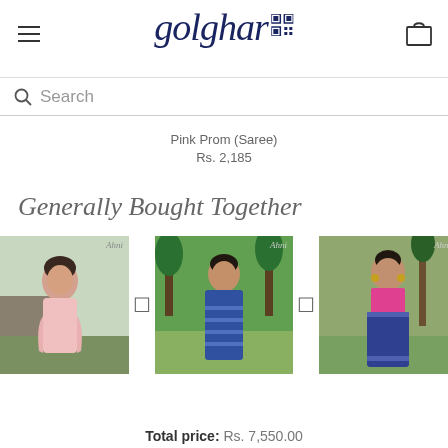golghar
Search
Pink Prom (Saree)
Rs. 2,185
Generally Bought Together
[Figure (photo): Three product images of Indian sarees shown side by side with plus symbols between them. Left: woman in pink saree. Center: woman in blue striped saree. Right: woman in blue saree with pink blouse.]
Total price: Rs. 7,550.00